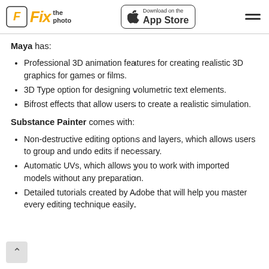Fix the photo | Download on the App Store
Maya has:
Professional 3D animation features for creating realistic 3D graphics for games or films.
3D Type option for designing volumetric text elements.
Bifrost effects that allow users to create a realistic simulation.
Substance Painter comes with:
Non-destructive editing options and layers, which allows users to group and undo edits if necessary.
Automatic UVs, which allows you to work with imported models without any preparation.
Detailed tutorials created by Adobe that will help you master every editing technique easily.